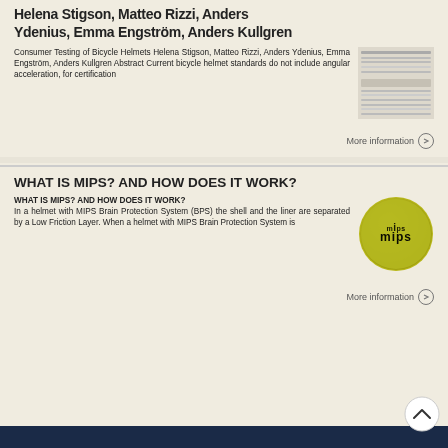Helena Stigson, Matteo Rizzi, Anders Ydenius, Emma Engström, Anders Kullgren
Consumer Testing of Bicycle Helmets Helena Stigson, Matteo Rizzi, Anders Ydenius, Emma Engström, Anders Kullgren Abstract Current bicycle helmet standards do not include angular acceleration, for certification
More information →
WHAT IS MIPS? AND HOW DOES IT WORK?
WHAT IS MIPS? AND HOW DOES IT WORK? In a helmet with MIPS Brain Protection System (BPS) the shell and the liner are separated by a Low Friction Layer. When a helmet with MIPS Brain Protection System is
[Figure (logo): MIPS logo — yellow-green circle with 'mips' text in center]
More information →